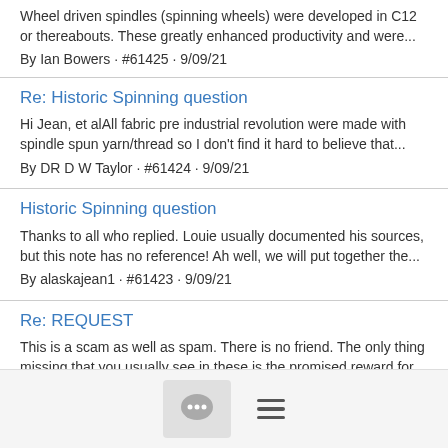Wheel driven spindles (spinning wheels) were developed in C12 or thereabouts. These greatly enhanced productivity and were...
By Ian Bowers · #61425 · 9/09/21
Re: Historic Spinning question
Hi Jean, et alAll fabric pre industrial revolution were made with spindle spun yarn/thread so I don't find it hard to believe that...
By DR D W Taylor · #61424 · 9/09/21
Historic Spinning question
Thanks to all who replied. Louie usually documented his sources, but this note has no reference! Ah well, we will put together the...
By alaskajean1 · #61423 · 9/09/21
Re: REQUEST
This is a scam as well as spam. There is no friend. The only thing missing that you usually see in these is the promised reward for...
By bigwhitesofadog · #61422 · 9/07/21
[Figure (other): Bottom navigation bar with chat bubble icon button and hamburger menu icon]